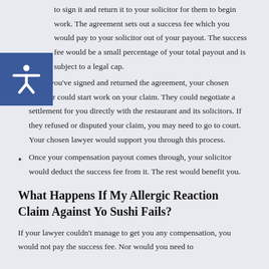to sign it and return it to your solicitor for them to begin work. The agreement sets out a success fee which you would pay to your solicitor out of your payout. The success fee would be a small percentage of your total payout and is subject to a legal cap.
When you've signed and returned the agreement, your chosen solicitor could start work on your claim. They could negotiate a settlement for you directly with the restaurant and its solicitors. If they refused or disputed your claim, you may need to go to court. Your chosen lawyer would support you through this process.
Once your compensation payout comes through, your solicitor would deduct the success fee from it. The rest would benefit you.
What Happens If My Allergic Reaction Claim Against Yo Sushi Fails?
If your lawyer couldn't manage to get you any compensation, you would not pay the success fee. Nor would you need to